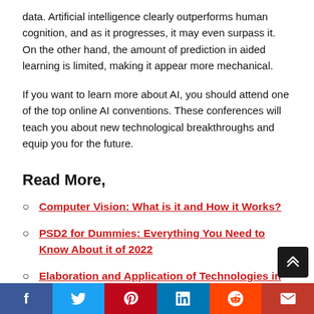data. Artificial intelligence clearly outperforms human cognition, and as it progresses, it may even surpass it. On the other hand, the amount of prediction in aided learning is limited, making it appear more mechanical.
If you want to learn more about AI, you should attend one of the top online AI conventions. These conferences will teach you about new technological breakthroughs and equip you for the future.
Read More,
Computer Vision: What is it and How it Works?
PSD2 for Dummies: Everything You Need to Know About it of 2022
Elaboration and Application of Technologies in Education